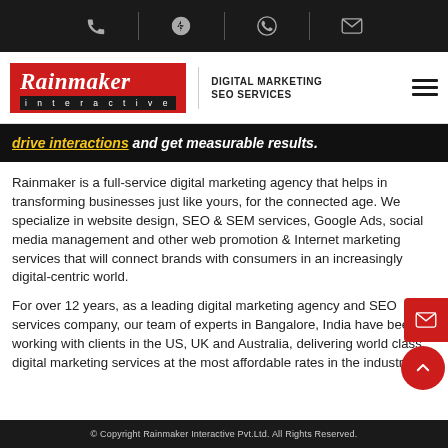Rainmaker Interactive — DIGITAL MARKETING SEO SERVICES
[Figure (screenshot): Partial hero banner text: 'drive interactions and get measurable results.']
Rainmaker is a full-service digital marketing agency that helps in transforming businesses just like yours, for the connected age. We specialize in website design, SEO & SEM services, Google Ads, social media management and other web promotion & Internet marketing services that will connect brands with consumers in an increasingly digital-centric world.
For over 12 years, as a leading digital marketing agency and SEO services company, our team of experts in Bangalore, India have been working with clients in the US, UK and Australia, delivering world class digital marketing services at the most affordable rates in the industry.
© Copyright Rainmaker Interactive Pvt.Ltd. All Rights Reserved.